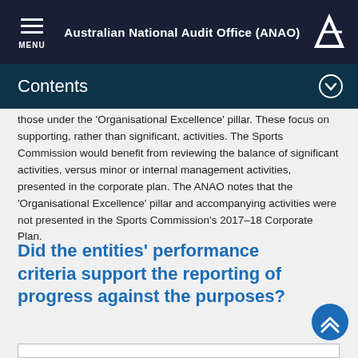Australian National Audit Office (ANAO)
Contents
those under the 'Organisational Excellence' pillar. These focus on supporting, rather than significant, activities. The Sports Commission would benefit from reviewing the balance of significant activities, versus minor or internal management activities, presented in the corporate plan. The ANAO notes that the 'Organisational Excellence' pillar and accompanying activities were not presented in the Sports Commission's 2017–18 Corporate Plan.
Did the entities' performance criteria support the reporting of progress against the purposes?